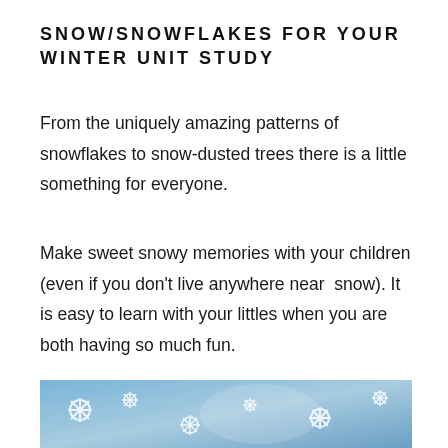SNOW/SNOWFLAKES FOR YOUR WINTER UNIT STUDY
From the uniquely amazing patterns of snowflakes to snow-dusted trees there is a little something for everyone.
Make sweet snowy memories with your children (even if you don’t live anywhere near snow). It is easy to learn with your littles when you are both having so much fun.
[Figure (photo): Photo of snowflakes on a blue wintry background, partially visible at the bottom of the page]